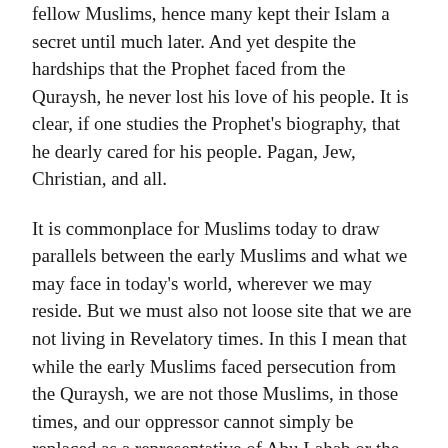fellow Muslims, hence many kept their Islam a secret until much later. And yet despite the hardships that the Prophet faced from the Quraysh, he never lost his love of his people. It is clear, if one studies the Prophet's biography, that he dearly cared for his people. Pagan, Jew, Christian, and all.
It is commonplace for Muslims today to draw parallels between the early Muslims and what we may face in today's world, wherever we may reside. But we must also not loose site that we are not living in Revelatory times. In this I mean that while the early Muslims faced persecution from the Quraysh, we are not those Muslims, in those times, and our oppressor cannot simply be replaced as a representative of Abu Lahab or the Quraysh (i.e., the American government or greater society). Instead, to draw from the brother's quote on Hudaybiyyah and the opening of Makkah (Fath-ul-Makkah), these should be seen as exercises in restraint, compromise and the ability to coexist with those who may have different religious tenements